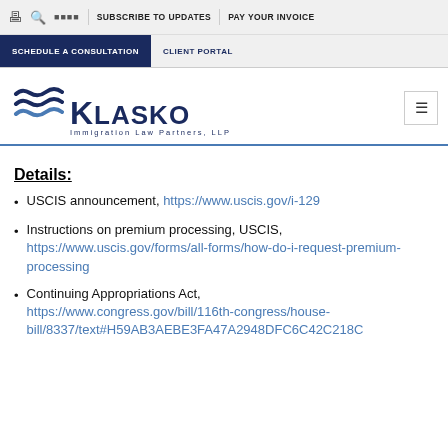SUBSCRIBE TO UPDATES | PAY YOUR INVOICE | SCHEDULE A CONSULTATION | CLIENT PORTAL
[Figure (logo): Klasko Immigration Law Partners, LLP logo with wave graphic in navy and blue]
Details:
USCIS announcement, https://www.uscis.gov/i-129
Instructions on premium processing, USCIS, https://www.uscis.gov/forms/all-forms/how-do-i-request-premium-processing
Continuing Appropriations Act, https://www.congress.gov/bill/116th-congress/house-bill/8337/text#H59AB3AEBE3FA47A2948DFC6C42C218C